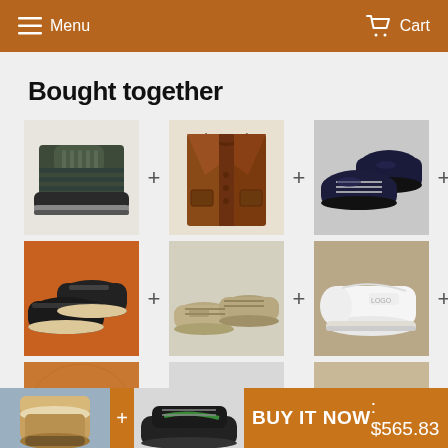Menu  Cart
Bought together
[Figure (photo): Grid of 9 shoe/jacket product photos arranged in 3 rows of 3, separated by plus signs, showing a 'Bought together' product bundle recommendation section. Row 1: dark combat boot, brown leather jacket, black dress shoes. Row 2: black sneakers (orange background), beige suede sneakers, white sneakers. Row 3: white sneakers (basketball bg), beige/khaki lace-up shoes, tan/camel casual shoes.]
BUY IT NOW: $565.83